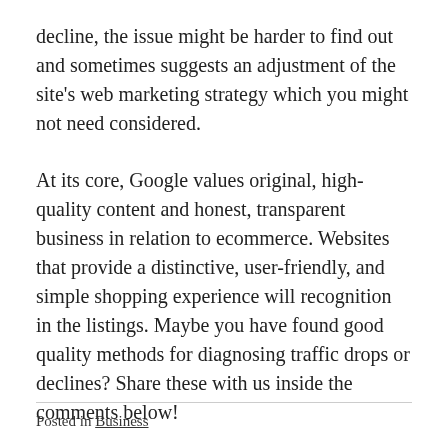decline, the issue might be harder to find out and sometimes suggests an adjustment of the site's web marketing strategy which you might not need considered.
At its core, Google values original, high-quality content and honest, transparent business in relation to ecommerce. Websites that provide a distinctive, user-friendly, and simple shopping experience will recognition in the listings. Maybe you have found good quality methods for diagnosing traffic drops or declines? Share these with us inside the comments below!
Posted in Business